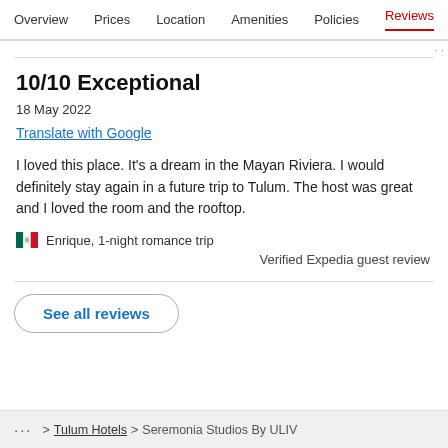Overview  Prices  Location  Amenities  Policies  Reviews
10/10 Exceptional
18 May 2022
Translate with Google
I loved this place. It's a dream in the Mayan Riviera. I would definitely stay again in a future trip to Tulum. The host was great and I loved the room and the rooftop.
Enrique, 1-night romance trip
Verified Expedia guest review
See all reviews
... > Tulum Hotels > Seremonia Studios By ULIV